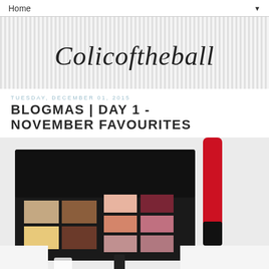Home ▼
[Figure (illustration): Blog header banner with vertical grey stripes pattern and script handwritten logo text 'Colicoftheball' centered on it]
TUESDAY, DECEMBER 01, 2015
BLOGMAS | DAY 1 - NOVEMBER FAVOURITES
[Figure (photo): Flat lay photo of a dark eye shadow palette with warm neutral and pink shades, a red lip gloss or mascara tube, and black makeup items on a white background]